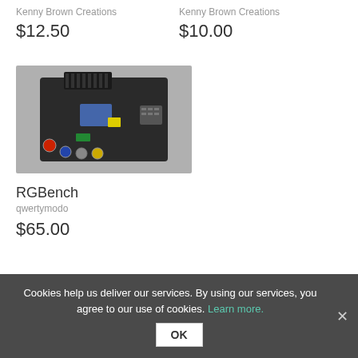Kenny Brown Creations
$12.50
Kenny Brown Creations
$10.00
[Figure (photo): A dark electronic circuit board / hardware module (RGBench) with multiple colored connector ports (red, green, yellow, blue) and ribbon connector on top, photographed on gray background.]
RGBench
qwertymodo
$65.00
Cookies help us deliver our services. By using our services, you agree to our use of cookies. Learn more.
OK